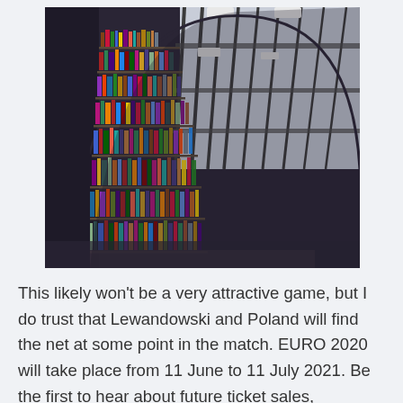[Figure (photo): Interior of a curved library with multiple floors of bookshelves filled with colorful books, viewed from below looking up through a circular atrium with metal railings and skylights above]
This likely won't be a very attractive game, but I do trust that Lewandowski and Poland will find the net at some point in the match. EURO 2020 will take place from 11 June to 11 July 2021. Be the first to hear about future ticket sales, competitions, UEFA...